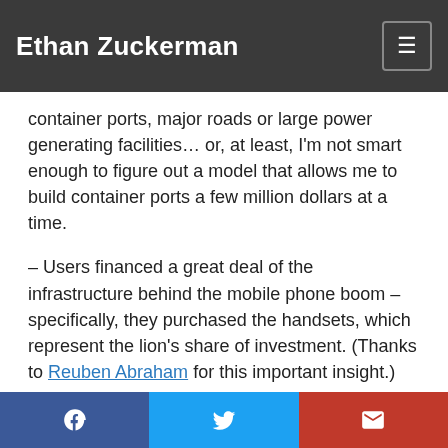Ethan Zuckerman
container ports, major roads or large power generating facilities… or, at least, I'm not smart enough to figure out a model that allows me to build container ports a few million dollars at a time.
– Users financed a great deal of the infrastructure behind the mobile phone boom – specifically, they purchased the handsets, which represent the lion's share of investment. (Thanks to Reuben Abraham for this important insight.)
– Sheer government incompetence helped the mobile industry by ensuring that most phone buyers weren't replacing land lines with mobiles, but purchasing their first phones. It's easier to sell someone a new, useful service
Share on Facebook | Share on Twitter | Share via Email